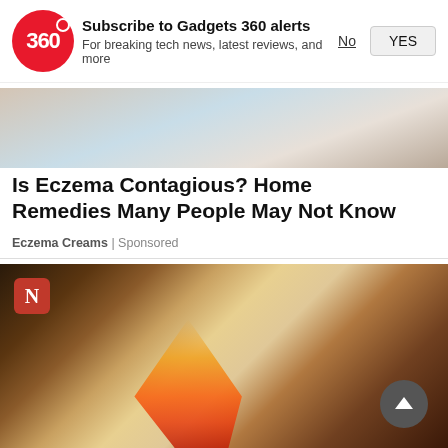[Figure (screenshot): Gadgets 360 push notification prompt with red circular logo showing '360', bold text 'Subscribe to Gadgets 360 alerts', subtitle 'For breaking tech news, latest reviews, and more', and two buttons: 'No' (underlined) and 'YES' (button)]
[Figure (photo): Close-up photo of skin/arm, blurred background, part of an eczema advertisement]
Is Eczema Contagious? Home Remedies Many People May Not Know
Eczema Creams | Sponsored
[Figure (photo): Photo of people performing a ritual/ceremony with fire/flames, framed photos in background, orange flowers/decorations, person in white clothing on right side. N logo badge in top left corner. Scroll-up button in bottom right.]